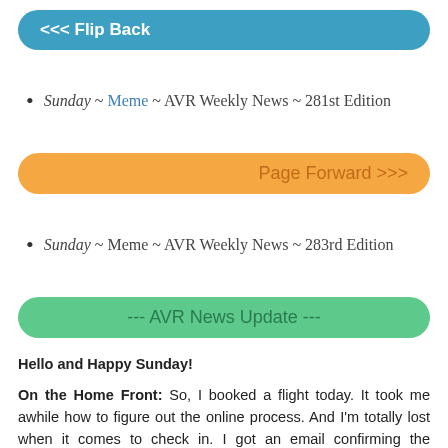[Figure (other): Blue pill-shaped button labeled '<<< Flip Back']
Sunday ~ Meme ~ AVR Weekly News ~ 281st Edition
[Figure (other): Orange pill-shaped button labeled 'Page Forward >>>']
Sunday ~ Meme ~ AVR Weekly News ~ 283rd Edition
[Figure (other): Green pill-shaped button labeled '--- AVR News Update ---']
Hello and Happy Sunday!
On the Home Front: So, I booked a flight today. It took me awhile how to figure out the online process. And I'm totally lost when it comes to check in. I got an email confirming the booking,